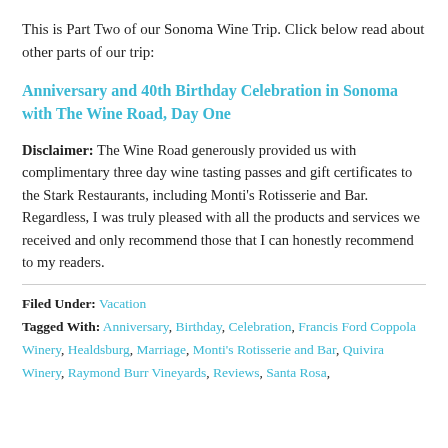This is Part Two of our Sonoma Wine Trip. Click below read about other parts of our trip:
Anniversary and 40th Birthday Celebration in Sonoma with The Wine Road, Day One
Disclaimer: The Wine Road generously provided us with complimentary three day wine tasting passes and gift certificates to the Stark Restaurants, including Monti's Rotisserie and Bar. Regardless, I was truly pleased with all the products and services we received and only recommend those that I can honestly recommend to my readers.
Filed Under: Vacation
Tagged With: Anniversary, Birthday, Celebration, Francis Ford Coppola Winery, Healdsburg, Marriage, Monti's Rotisserie and Bar, Quivira Winery, Raymond Burr Vineyards, Reviews, Santa Rosa,